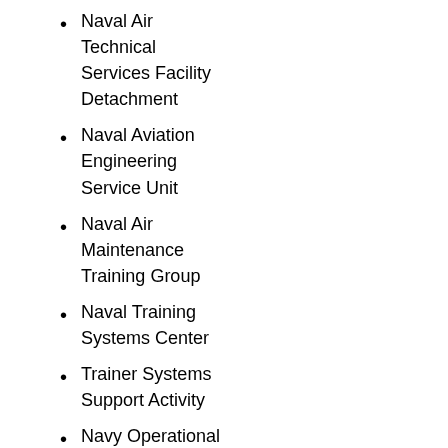Naval Air Technical Services Facility Detachment
Naval Aviation Engineering Service Unit
Naval Air Maintenance Training Group
Naval Training Systems Center
Trainer Systems Support Activity
Navy Operational Support Center
Fleet Readiness